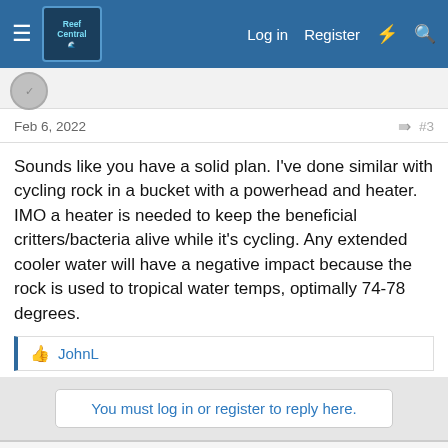Reef Central — Log in | Register
Feb 6, 2022  #3
Sounds like you have a solid plan. I've done similar with cycling rock in a bucket with a powerhead and heater. IMO a heater is needed to keep the beneficial critters/bacteria alive while it's cycling. Any extended cooler water will have a negative impact because the rock is used to tropical water temps, optimally 74-78 degrees.
👍 JohnL
You must log in or register to reply here.
This site uses cookies to help personalise content, tailor your experience and to keep you logged in if you register.
By continuing to use this site, you are consenting to our use of cookies.
✓ Accept  Learn more...